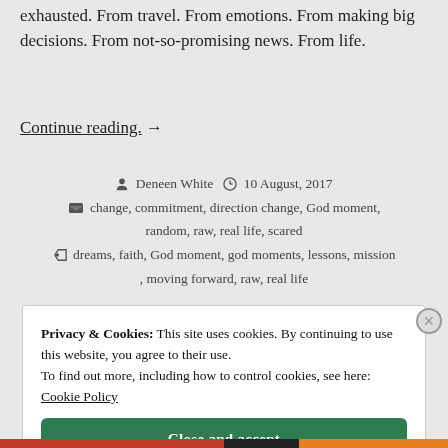exhausted. From travel. From emotions. From making big decisions. From not-so-promising news. From life.
Continue reading. →
Deneen White   10 August, 2017   change, commitment, direction change, God moment, random, raw, real life, scared   dreams, faith, God moment, god moments, lessons, mission, moving forward, raw, real life
Privacy & Cookies: This site uses cookies. By continuing to use this website, you agree to their use. To find out more, including how to control cookies, see here: Cookie Policy
Close and accept